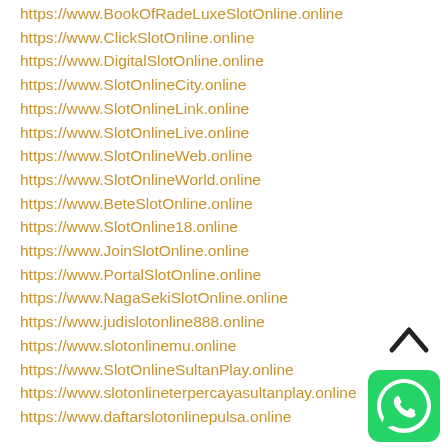https://www.BookOfRadeLuxeSlotOnline.online
https://www.ClickSlotOnline.online
https://www.DigitalSlotOnline.online
https://www.SlotOnlineCity.online
https://www.SlotOnlineLink.online
https://www.SlotOnlineLive.online
https://www.SlotOnlineWeb.online
https://www.SlotOnlineWorld.online
https://www.BeteSlotOnline.online
https://www.SlotOnline18.online
https://www.JoinSlotOnline.online
https://www.PortalSlotOnline.online
https://www.NagaSekiSlotOnline.online
https://www.judislotonline888.online
https://www.slotonlinemu.online
https://www.SlotOnlineSultanPlay.online
https://www.slotonlineterpercayasultanplay.online
https://www.daftarslotonlinepulsa.online
[Figure (other): WhatsApp contact button (green circle with phone icon) and upward chevron arrow]